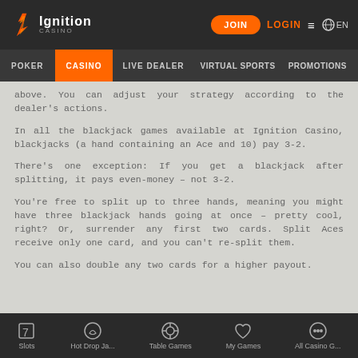Ignition Casino — JOIN LOGIN ≡ EN
POKER | CASINO | LIVE DEALER | VIRTUAL SPORTS | PROMOTIONS
above. You can adjust your strategy according to the dealer's actions.
In all the blackjack games available at Ignition Casino, blackjacks (a hand containing an Ace and 10) pay 3-2.
There's one exception: If you get a blackjack after splitting, it pays even-money – not 3-2.
You're free to split up to three hands, meaning you might have three blackjack hands going at once – pretty cool, right? Or, surrender any first two cards. Split Aces receive only one card, and you can't re-split them.
You can also double any two cards for a higher payout.
Slots | Hot Drop Ja... | Table Games | My Games | All Casino G...